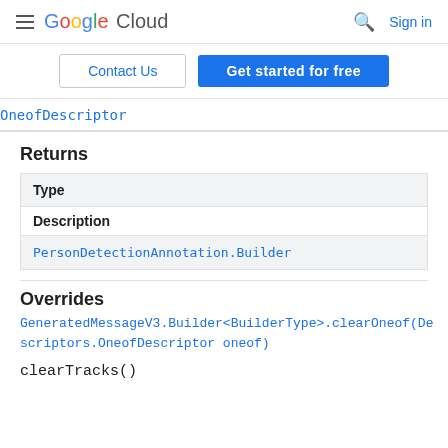Google Cloud  Sign in
Contact Us  Get started for free
OneofDescriptor
Returns
| Type |
| --- |
| Description |
| PersonDetectionAnnotation.Builder |
Overrides
GeneratedMessageV3.Builder<BuilderType>.clearOneof(Descriptors.OneofDescriptor oneof)
clearTracks()